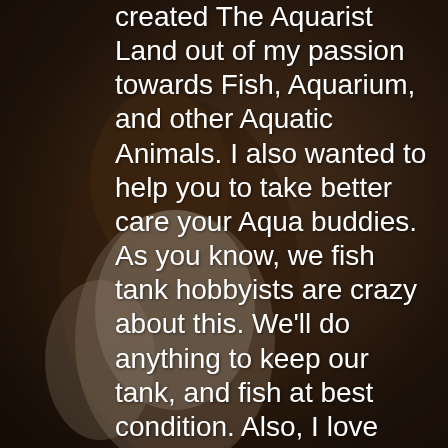[Figure (photo): Dark background photo of a person wearing a white t-shirt, partially visible, with dark warm tones.]
created The Aquarist Land out of my passion towards Fish, Aquarium, and other Aquatic Animals. I also wanted to help you to take better care your Aqua buddies. As you know, we fish tank hobbyists are crazy about this. We'll do anything to keep our tank, and fish at best condition. Also, I love reading and sharing related information with my fellow aquarists.
That's why I created this site for help you guys. If my knowledge or information could benefit a single person, I'll be pretty happy.